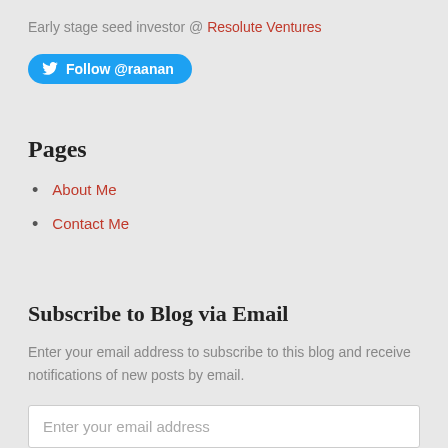Early stage seed investor @ Resolute Ventures
[Figure (other): Twitter Follow @raanan button]
Pages
About Me
Contact Me
Subscribe to Blog via Email
Enter your email address to subscribe to this blog and receive notifications of new posts by email.
Enter your email address